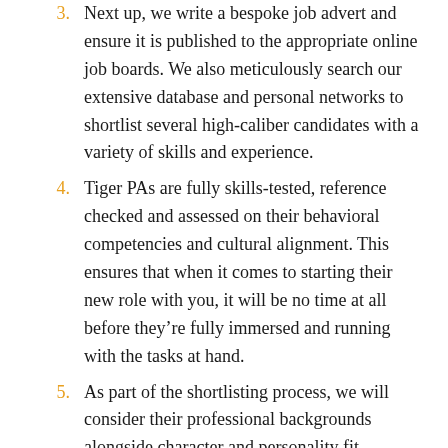3. Next up, we write a bespoke job advert and ensure it is published to the appropriate online job boards. We also meticulously search our extensive database and personal networks to shortlist several high-caliber candidates with a variety of skills and experience.
4. Tiger PAs are fully skills-tested, reference checked and assessed on their behavioral competencies and cultural alignment. This ensures that when it comes to starting their new role with you, it will be no time at all before they're fully immersed and running with the tasks at hand.
5. As part of the shortlisting process, we will consider their professional backgrounds alongside character and personality fit, ensuring you're fully informed and have been thoroughly briefed before the